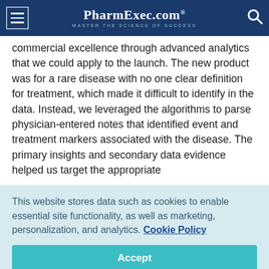PharmExec.com® — MASTER THE SCIENCE OF SUCCESS
commercial excellence through advanced analytics that we could apply to the launch. The new product was for a rare disease with no one clear definition for treatment, which made it difficult to identify in the data. Instead, we leveraged the algorithms to parse physician-entered notes that identified event and treatment markers associated with the disease. The primary insights and secondary data evidence helped us target the appropriate
This website stores data such as cookies to enable essential site functionality, as well as marketing, personalization, and analytics. Cookie Policy
Accept
Deny